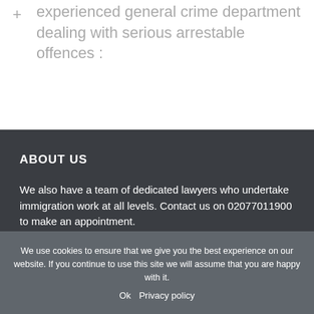+ experienced general crime department dealing with serious arrestable offences :
ABOUT US
We also have a team of dedicated lawyers who undertake immigration work at all levels. Contact us on 02077011900 to make an appointment.
We use cookies to ensure that we give you the best experience on our website. If you continue to use this site we will assume that you are happy with it.
Ok   Privacy policy